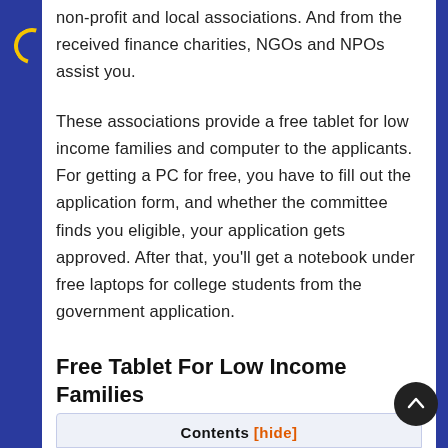non-profit and local associations. And from the received finance charities, NGOs and NPOs assist you.
These associations provide a free tablet for low income families and computer to the applicants. For getting a PC for free, you have to fill out the application form, and whether the committee finds you eligible, your application gets approved. After that, you'll get a notebook under free laptops for college students from the government application.
Free Tablet For Low Income Families
Contents [hide]